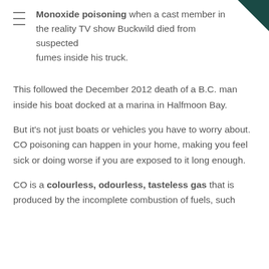Monoxide poisoning when a cast member in the reality TV show Buckwild died from suspected fumes inside his truck.
This followed the December 2012 death of a B.C. man inside his boat docked at a marina in Halfmoon Bay.
But it's not just boats or vehicles you have to worry about. CO poisoning can happen in your home, making you feel sick or doing worse if you are exposed to it long enough.
CO is a colourless, odourless, tasteless gas that is produced by the incomplete combustion of fuels, such